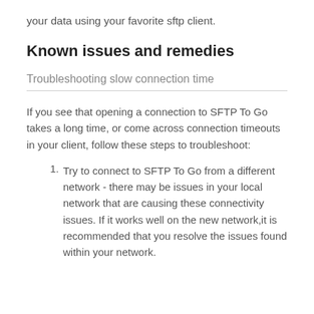your data using your favorite sftp client.
Known issues and remedies
Troubleshooting slow connection time
If you see that opening a connection to SFTP To Go takes a long time, or come across connection timeouts in your client, follow these steps to troubleshoot:
Try to connect to SFTP To Go from a different network - there may be issues in your local network that are causing these connectivity issues. If it works well on the new network,it is recommended that you resolve the issues found within your network.